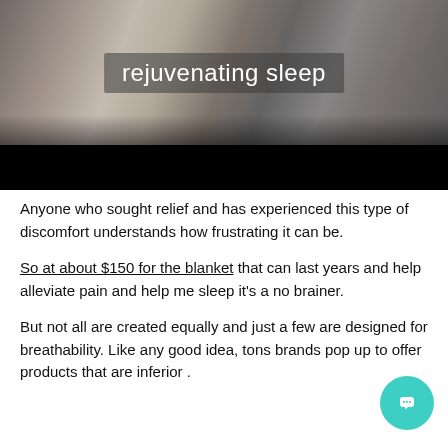[Figure (photo): Close-up photo of a person wrapped in a blanket, with a dark black bar at the bottom of the image. Text overlay reads 'rejuvenating sleep'.]
Anyone who sought relief and has experienced this type of discomfort understands how frustrating it can be.
So at about $150 for the blanket that can last years and help alleviate pain and help me sleep it's a no brainer.
But not all are created equally and just a few are designed for breathability. Like any good idea, tons brands pop up to offer products that are inferior .